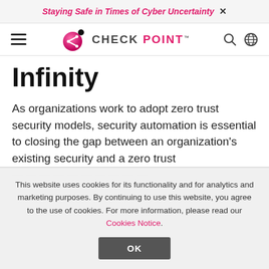Staying Safe in Times of Cyber Uncertainty ×
[Figure (logo): Check Point logo — pink/magenta globe icon with dot, text CHECK POINT]
Infinity
As organizations work to adopt zero trust security models, security automation is essential to closing the gap between an organization's existing security and a zero trust
This website uses cookies for its functionality and for analytics and marketing purposes. By continuing to use this website, you agree to the use of cookies. For more information, please read our Cookies Notice.
OK